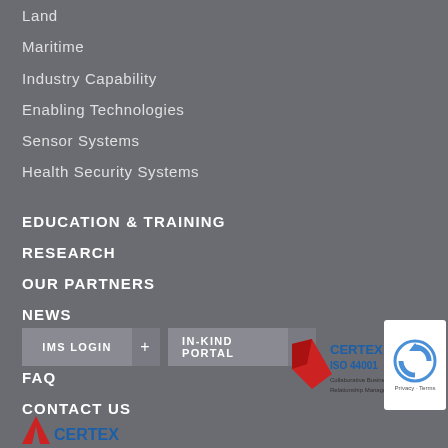Land
Maritime
Industry Capability
Enabling Technologies
Sensor Systems
Health Security Systems
EDUCATION & TRAINING
RESEARCH
OUR PARTNERS
NEWS
PUBLICATIONS
FAQ
CONTACT US
[Figure (logo): IMS LOGIN button with plus sign]
[Figure (logo): IN-KIND PORTAL button with plus sign]
[Figure (logo): CERTEX ISO 44001 Collaborative Business Relationship Management certification logo]
[Figure (logo): reCAPTCHA privacy badge]
[Figure (logo): CERTEX logo bottom partial]